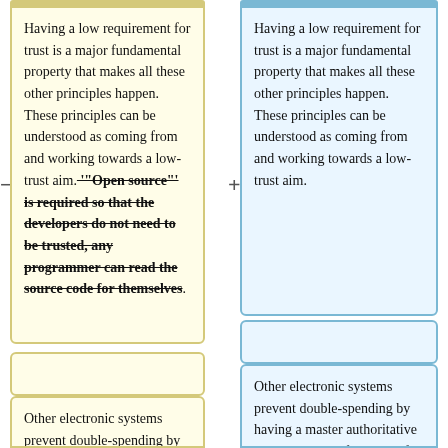Having a low requirement for trust is a major fundamental property that makes all these other principles happen. These principles can be understood as coming from and working towards a low-trust aim. '"Open source"' is required so that the developers do not need to be trusted, any programmer can read the source code for themselves.
Having a low requirement for trust is a major fundamental property that makes all these other principles happen. These principles can be understood as coming from and working towards a low-trust aim.
Other electronic systems prevent double-spending by having a master authoritative source to check for them. If there is theft, fraud or error this centralized
Other electronic systems prevent double-spending by having a master authoritative source to check for them. If there is theft, fraud or error this centralized